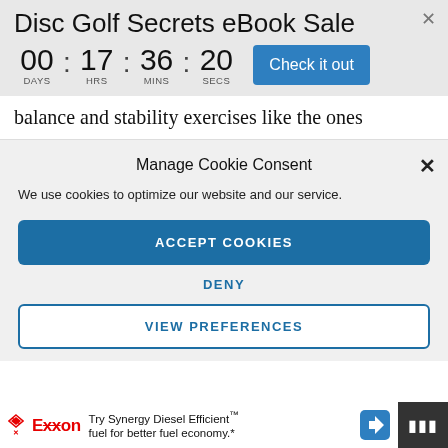Disc Golf Secrets eBook Sale
00 : 17 : 36 : 20  DAYS  HRS  MINS  SECS
Check it out
balance and stability exercises like the ones
Manage Cookie Consent
We use cookies to optimize our website and our service.
ACCEPT COOKIES
DENY
VIEW PREFERENCES
Try Synergy Diesel Efficient™ fuel for better fuel economy.*